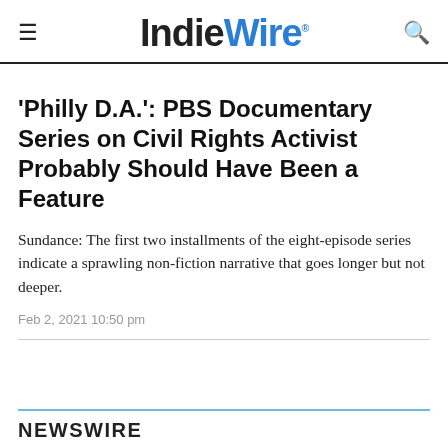IndieWire
'Philly D.A.': PBS Documentary Series on Civil Rights Activist Probably Should Have Been a Feature
Sundance: The first two installments of the eight-episode series indicate a sprawling non-fiction narrative that goes longer but not deeper.
Feb 2, 2021 10:50 pm
NEWSWIRE